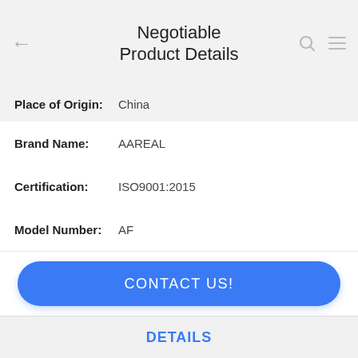Negotiable Product Details
Place of Origin: China
Brand Name: AAREAL
Certification: ISO9001:2015
Model Number: AF
CONTACT US!
DETAILS
Similar Products
High Accuracy Gyratory